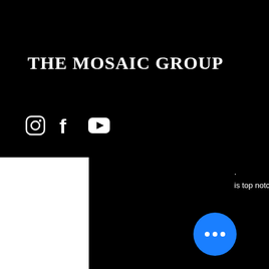THE MOSAIC GROUP
[Figure (logo): Instagram, Facebook, and YouTube social media icons in white on black background]
[Figure (other): Hamburger menu icon (three horizontal white lines)]
Carey nce he ack in ional ll work
is top notch.
[Figure (other): Blue circular button with three white dots (ellipsis)]